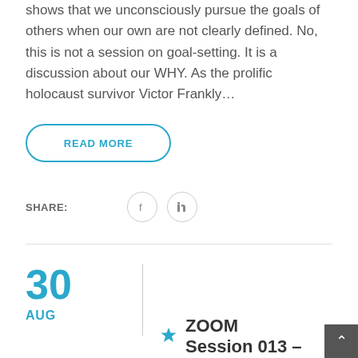shows that we unconsciously pursue the goals of others when our own are not clearly defined. No, this is not a session on goal-setting. It is a discussion about our WHY. As the prolific holocaust survivor Victor Frankly...
READ MORE
SHARE:
[Figure (other): Facebook and LinkedIn social share icons as circular outlined buttons]
30
AUG
ZOOM Session 013 –